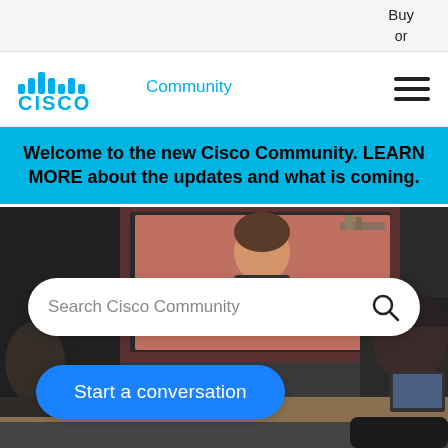Buy
or
[Figure (logo): Cisco Community logo with Cisco bars icon and 'Community' text in blue]
Welcome to the new Cisco Community. LEARN MORE about the updates and what is coming.
[Figure (photo): Hero image showing people in a video conference room with a woman on screen]
Search Cisco Community
Start a conversation